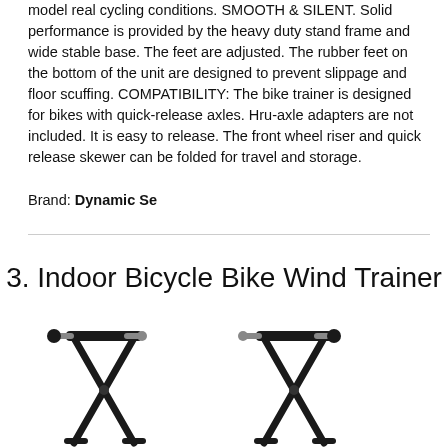model real cycling conditions. SMOOTH & SILENT. Solid performance is provided by the heavy duty stand frame and wide stable base. The feet are adjusted. The rubber feet on the bottom of the unit are designed to prevent slippage and floor scuffing. COMPATIBILITY: The bike trainer is designed for bikes with quick-release axles. Hru-axle adapters are not included. It is easy to release. The front wheel riser and quick release skewer can be folded for travel and storage.
Brand: Dynamic Se
3. Indoor Bicycle Bike Wind Trainer
[Figure (photo): Two black indoor bicycle bike wind trainer stands shown side by side, with folding metal frames in an X or A-frame configuration and quick-release skewer mechanisms at the top.]